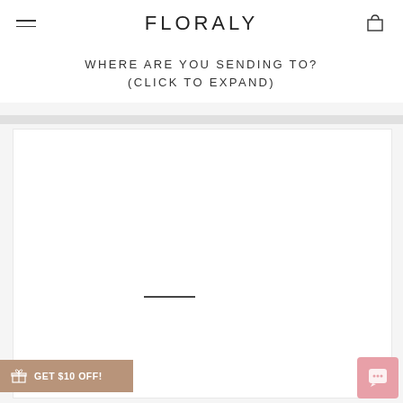FLORALY
WHERE ARE YOU SENDING TO?
(CLICK TO EXPAND)
[Figure (screenshot): White content card area with a horizontal dash/line in the center, representing an expandable section of a floral e-commerce website (Floraly).]
GET $10 OFF!